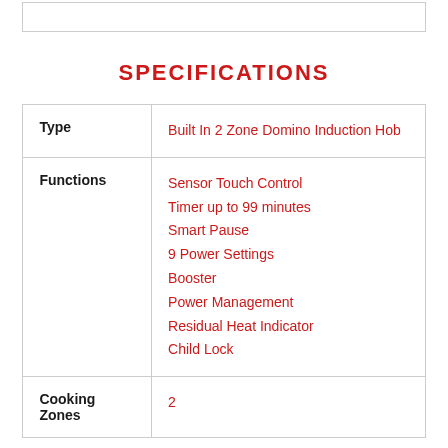SPECIFICATIONS
|  |  |
| --- | --- |
| Type | Built In 2 Zone Domino Induction Hob |
| Functions | Sensor Touch Control
Timer up to 99 minutes
Smart Pause
9 Power Settings
Booster
Power Management
Residual Heat Indicator
Child Lock |
| Cooking Zones | 2 |